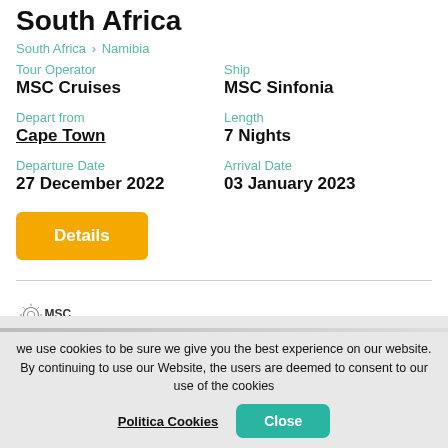South Africa
South Africa > Namibia
Tour Operator
MSC Cruises
Ship
MSC Sinfonia
Depart from
Cape Town
Length
7 Nights
Departure Date
27 December 2022
Arrival Date
03 January 2023
Details
[Figure (logo): MSC Crociere logo with sun/star emblem]
we use cookies to be sure we give you the best experience on our website. By continuing to use our Website, the users are deemed to consent to our use of the cookies
Politica Cookies
Close